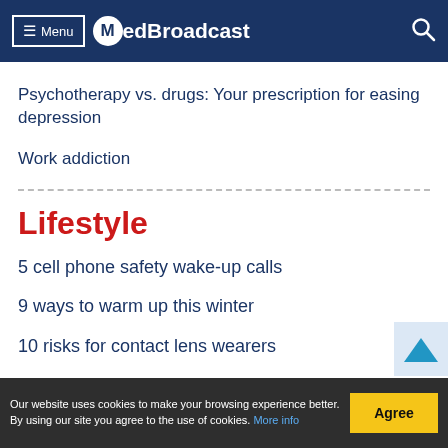Menu | MedBroadcast
Psychotherapy vs. drugs: Your prescription for easing depression
Work addiction
Lifestyle
5 cell phone safety wake-up calls
9 ways to warm up this winter
10 risks for contact lens wearers
Our website uses cookies to make your browsing experience better. By using our site you agree to the use of cookies. More info